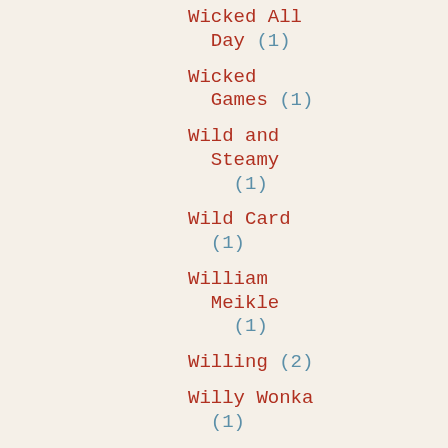Wicked All Day (1)
Wicked Games (1)
Wild and Steamy (1)
Wild Card (1)
William Meikle (1)
Willing (2)
Willy Wonka (1)
window boxes (1)
Wine In A